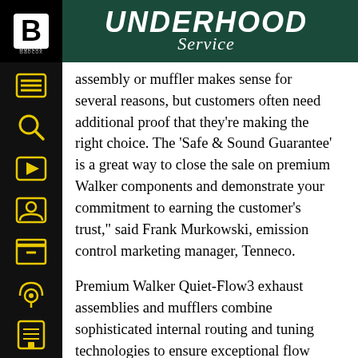UNDERHOOD Service
assembly or muffler makes sense for several reasons, but customers often need additional proof that they’re making the right choice. The ‘Safe & Sound Guarantee’ is a great way to close the sale on premium Walker components and demonstrate your commitment to earning the customer’s trust,” said Frank Murkowski, emission control marketing manager, Tenneco.
Premium Walker Quiet-Flow3 exhaust assemblies and mufflers combine sophisticated internal routing and tuning technologies to ensure exceptional flow characteristics and a quiet, OE-style sound. Each Quiet-Flow3 product is manufactured from all-aluminized steel,